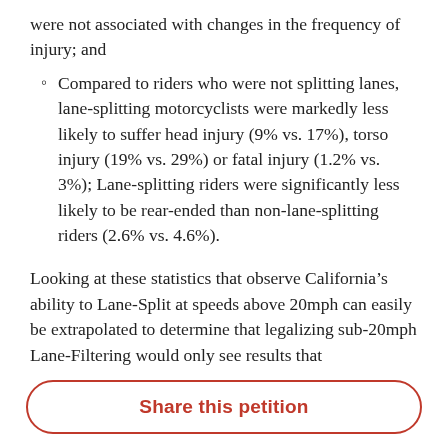were not associated with changes in the frequency of injury; and
Compared to riders who were not splitting lanes, lane-splitting motorcyclists were markedly less likely to suffer head injury (9% vs. 17%), torso injury (19% vs. 29%) or fatal injury (1.2% vs. 3%); Lane-splitting riders were significantly less likely to be rear-ended than non-lane-splitting riders (2.6% vs. 4.6%).
Looking at these statistics that observe California’s ability to Lane-Split at speeds above 20mph can easily be extrapolated to determine that legalizing sub-20mph Lane-Filtering would only see results that
Share this petition